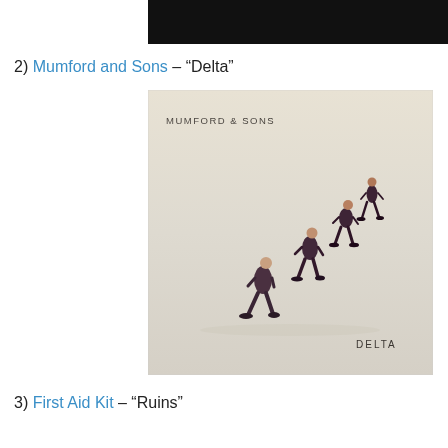[Figure (photo): Black rectangular image at top, partially visible, appears to be a cropped header image]
2) Mumford and Sons – "Delta"
[Figure (photo): Album cover for Mumford & Sons Delta. Light beige/cream background with four men in dark suits standing at various distances, appearing to walk up a slope. Text reads MUMFORD & SONS at top left and DELTA at bottom right.]
3) First Aid Kit – "Ruins"